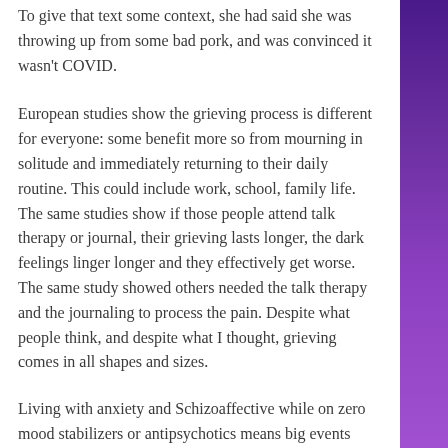To give that text some context, she had said she was throwing up from some bad pork, and was convinced it wasn't COVID.
European studies show the grieving process is different for everyone: some benefit more so from mourning in solitude and immediately returning to their daily routine. This could include work, school, family life. The same studies show if those people attend talk therapy or journal, their grieving lasts longer, the dark feelings linger longer and they effectively get worse. The same study showed others needed the talk therapy and the journaling to process the pain. Despite what people think, and despite what I thought, grieving comes in all shapes and sizes.
Living with anxiety and Schizoaffective while on zero mood stabilizers or antipsychotics means big events like